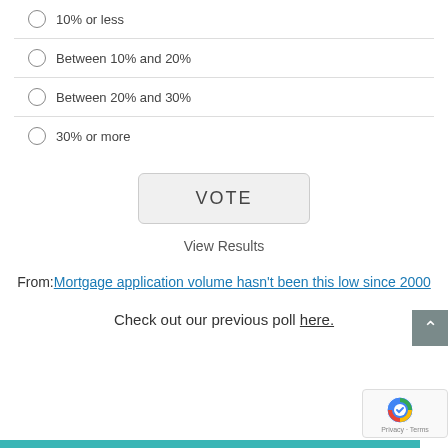10% or less
Between 10% and 20%
Between 20% and 30%
30% or more
VOTE
View Results
From: Mortgage application volume hasn't been this low since 2000
Check out our previous poll here.